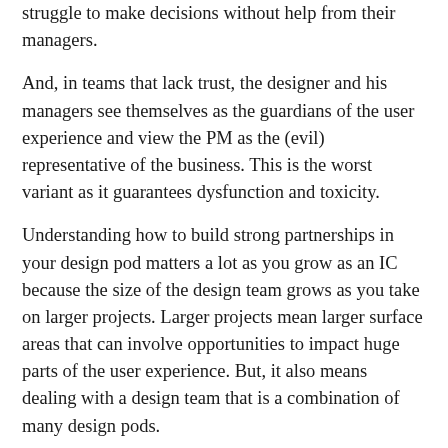struggle to make decisions without help from their managers.
And, in teams that lack trust, the designer and his managers see themselves as the guardians of the user experience and view the PM as the (evil) representative of the business. This is the worst variant as it guarantees dysfunction and toxicity.
Understanding how to build strong partnerships in your design pod matters a lot as you grow as an IC because the size of the design team grows as you take on larger projects. Larger projects mean larger surface areas that can involve opportunities to impact huge parts of the user experience. But, it also means dealing with a design team that is a combination of many design pods.
[Figure (illustration): Handwritten text reading 'Design team on a large project']